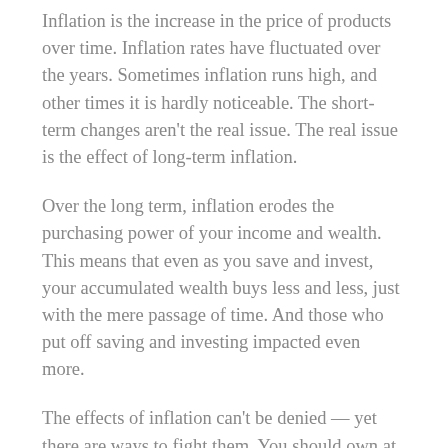Inflation is the increase in the price of products over time. Inflation rates have fluctuated over the years. Sometimes inflation runs high, and other times it is hardly noticeable. The short-term changes aren't the real issue. The real issue is the effect of long-term inflation.
Over the long term, inflation erodes the purchasing power of your income and wealth. This means that even as you save and invest, your accumulated wealth buys less and less, just with the mere passage of time. And those who put off saving and investing impacted even more.
The effects of inflation can't be denied — yet there are ways to fight them. You should own at least some investments whose potential return exceeds the inflation rate. A portfolio that earns 2% when inflation is 3% actually loses purchasing power each year. Though past performance is no guarantee of future results, stocks historically have provided